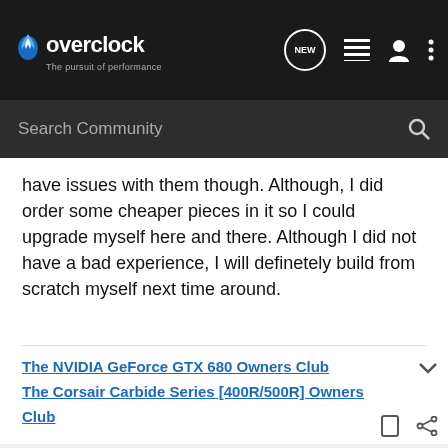overclock.net - The pursuit of performance
have issues with them though. Although, I did order some cheaper pieces in it so I could upgrade myself here and there. Although I did not have a bad experience, I will definetely build from scratch myself next time around.
The NVIDIA GeForce GTX 680 Owners Club
The Corsair Carbide Series [400R/500R] Owners Club
ljason8eg · Premium Member
Joined Jan 8, 2008 · 12,534 Posts
#16 · Nov 13, 2008